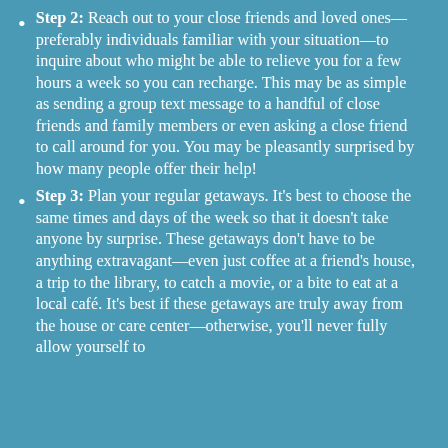Step 2: Reach out to your close friends and loved ones—preferably individuals familiar with your situation—to inquire about who might be able to relieve you for a few hours a week so you can recharge. This may be as simple as sending a group text message to a handful of close friends and family members or even asking a close friend to call around for you. You may be pleasantly surprised by how many people offer their help!
Step 3: Plan your regular getaways. It's best to choose the same times and days of the week so that it doesn't take anyone by surprise. These getaways don't have to be anything extravagant—even just coffee at a friend's house, a trip to the library, to catch a movie, or a bite to eat at a local café. It's best if these getaways are truly away from the house or care center—otherwise, you'll never fully allow yourself to